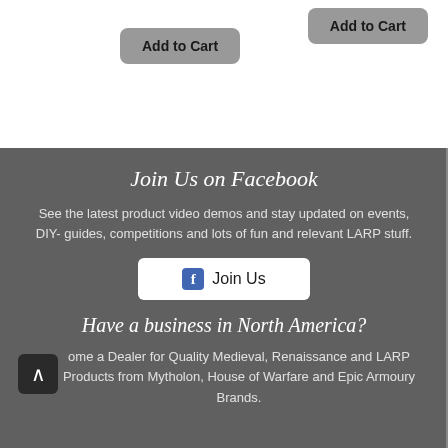[Figure (other): Two 'Add to Cart' buttons with rounded rectangle styling on white background]
Join Us on Facebook
See the latest product video demos and stay updated on events, DIY- guides, competitions and lots of fun and relevant LARP stuff.
[Figure (other): Facebook 'Join Us' button with Facebook icon]
Have a business in North America?
ome a Dealer for Quality Medieval, Renaissance and LARP Products from Mytholon, House of Warfare and Epic Armoury Brands.